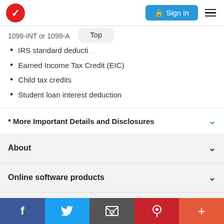Sign in
1099-INT or 1099-A
IRS standard deductions
Earned Income Tax Credit (EIC)
Child tax credits
Student loan interest deduction
* More Important Details and Disclosures
About
Online software products
CD/download products
f  Twitter  Email  Pinterest  +